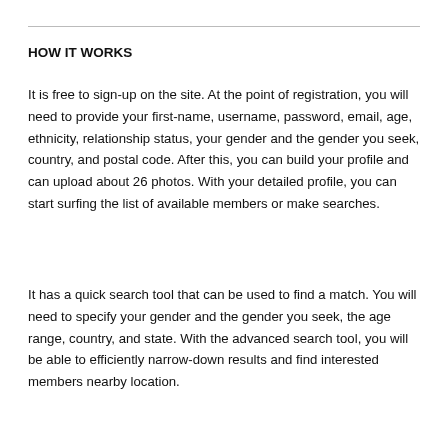HOW IT WORKS
It is free to sign-up on the site. At the point of registration, you will need to provide your first-name, username, password, email, age, ethnicity, relationship status, your gender and the gender you seek, country, and postal code. After this, you can build your profile and can upload about 26 photos. With your detailed profile, you can start surfing the list of available members or make searches.
It has a quick search tool that can be used to find a match. You will need to specify your gender and the gender you seek, the age range, country, and state. With the advanced search tool, you will be able to efficiently narrow-down results and find interested members nearby location.